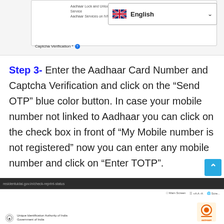[Figure (screenshot): Screenshot of Aadhaar portal showing language selector with English/UK flag and dropdown, plus Captcha Verification label]
Step 3- Enter the Aadhaar Card Number and Captcha Verification and click on the “Send OTP” blue color button. In case your mobile number not linked to Aadhaar you can click on the check box in front of “My Mobile number is not registered” now you can enter any mobile number and click on “Enter TOTP”.
[Figure (screenshot): Bottom portion of screenshot showing browser address bar with residentuidai.gov.in/check-reprint-status URL, UIDAI header with Unique Identification Authority of India text and Aadhaar logo]